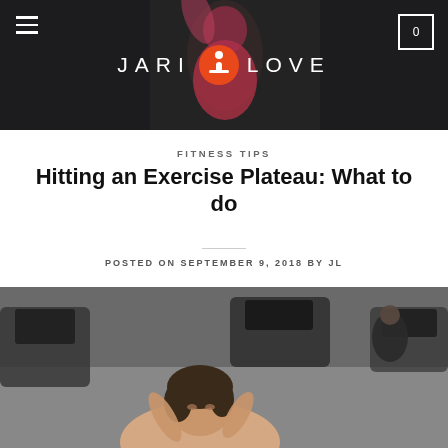[Figure (photo): Website header with dark background showing a woman in pink athletic wear from behind, with the Jari Love logo (text and orange icon) centered, hamburger menu on the left, and shopping cart with 0 on the right]
FITNESS TIPS
Hitting an Exercise Plateau: What to do
POSTED ON SEPTEMBER 9, 2018 BY JL
[Figure (photo): Woman with curly hair sitting in front of gym treadmills, looking tired or bored, with her hands raised near her face]